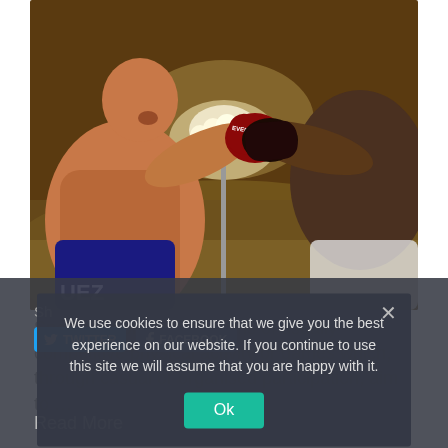[Figure (photo): Two boxers facing each other mid-punch in a boxing match under stadium lights. Left boxer is shirtless with red and black Everlast gloves, wearing dark shorts with partial text. Right boxer is dark-skinned, partially visible. Stadium lights glow in the background.]
Sport or sports are all forms of usually competitive physical activity or games which, through casual or organised participation, aim to …
We use cookies to ensure that we give you the best experience on our website. If you continue to use this site we will assume that you are happy with it.
Ok
Read More